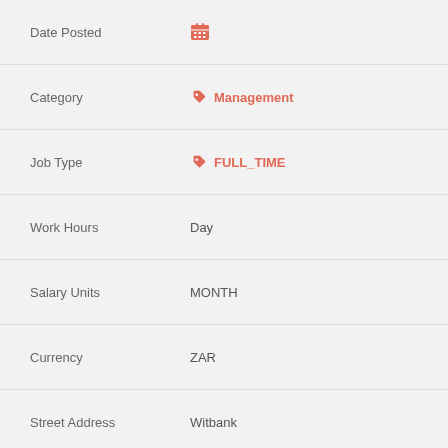Date Posted
Category: Management
Job Type: FULL_TIME
Work Hours: Day
Salary Units: MONTH
Currency: ZAR
Street Address: Witbank